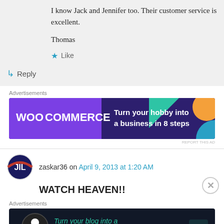I know Jack and Jennifer too. Their customer service is excellent.
Thomas
★ Like
↳ Reply
Advertisements
[Figure (other): WooCommerce advertisement banner: Turn your hobby into a business in 8 steps]
REPORT THIS AD
zaskar36 on April 9, 2013 at 1:20 AM
WATCH HEAVEN!!
Advertisements
[Figure (other): Advertisement: Turn your blog into a money-making online course. Arrow button.]
REPORT THIS AD